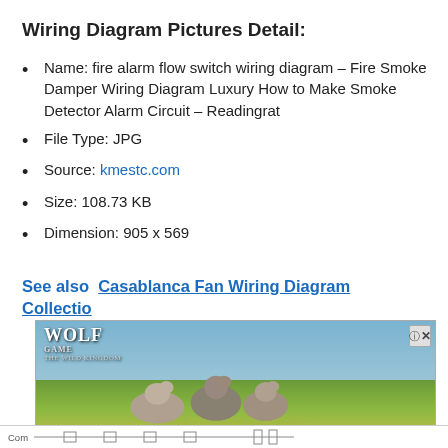Wiring Diagram Pictures Detail:
Name: fire alarm flow switch wiring diagram – Fire Smoke Damper Wiring Diagram Luxury How to Make Smoke Detector Alarm Circuit – Readingrat
File Type: JPG
Source: kmestc.com
Size: 108.73 KB
Dimension: 905 x 569
See also  Casablanca Fan Wiring Diagram Collection
[Figure (photo): Wolf Game advertisement banner showing wolves in a nature scene with text 'THE HUNT IS ON!' and a close button]